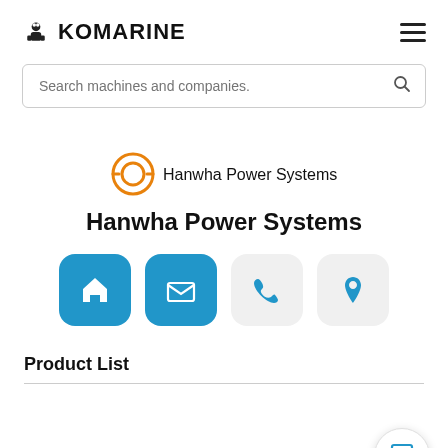KOMARINE
[Figure (screenshot): Komarine website screenshot showing Hanwha Power Systems company profile page with search bar, company logo, navigation icons, and Product List section]
Hanwha Power Systems
Product List